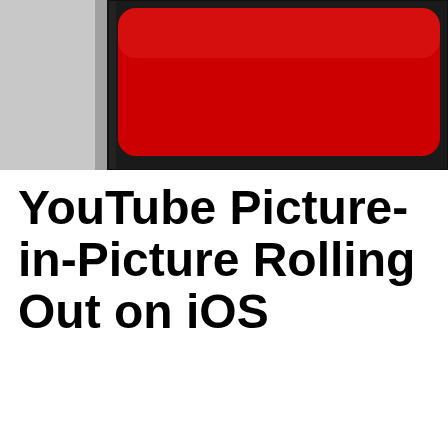[Figure (photo): Close-up photo of a red YouTube play button or logo element on a dark background, with a silver/white device or surface visible on the left side]
YouTube Picture-in-Picture Rolling Out on iOS